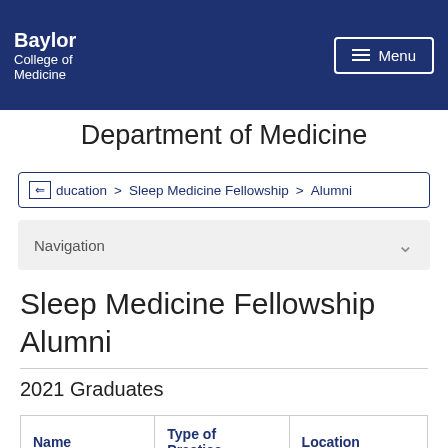Baylor College of Medicine
Department of Medicine
Education > Sleep Medicine Fellowship > Alumni
Navigation
Sleep Medicine Fellowship Alumni
2021 Graduates
| Name | Type of Practice | Location |
| --- | --- | --- |